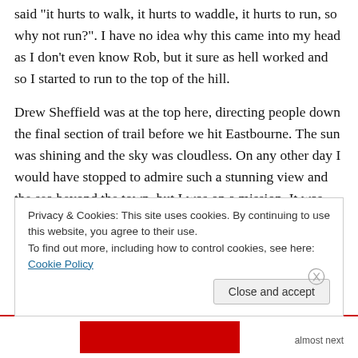said "it hurts to walk, it hurts to waddle, it hurts to run, so why not run?". I have no idea why this came into my head as I don't even know Rob, but it sure as hell worked and so I started to run to the top of the hill.
Drew Sheffield was at the top here, directing people down the final section of trail before we hit Eastbourne. The sun was shining and the sky was cloudless. On any other day I would have stopped to admire such a stunning view and the sea beyond the town, but I was on a mission. It was now 5:20pm and I had 40 minutes to finish to go sub 9
Privacy & Cookies: This site uses cookies. By continuing to use this website, you agree to their use.
To find out more, including how to control cookies, see here: Cookie Policy